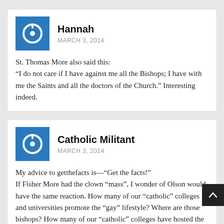Hannah
MARCH 3, 2014
St. Thomas More also said this: “I do not care if I have against me all the Bishops; I have with me the Saints and all the doctors of the Church.” Interesting indeed.
Catholic Militant
MARCH 3, 2014
My advice to getthefacts is—“Get the facts!” If Fisher More had the clown “mass”, I wonder of Olson would have the same reaction. How many of our “catholic” colleges and universities promote the “gay” lifestyle? Where are those bishops? How many of our “catholic” colleges have hosted the “V-Dialogues”? Where are those bishops? It seems our Bishops are too